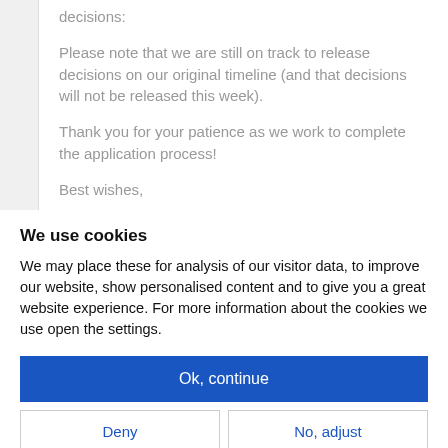decisions:
Please note that we are still on track to release decisions on our original timeline (and that decisions will not be released this week).
Thank you for your patience as we work to complete the application process!
Best wishes,
We use cookies
We may place these for analysis of our visitor data, to improve our website, show personalised content and to give you a great website experience. For more information about the cookies we use open the settings.
Ok, continue
Deny
No, adjust